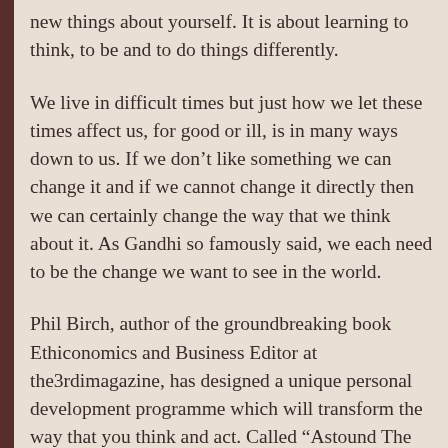new things about yourself. It is about learning to think, to be and to do things differently.
We live in difficult times but just how we let these times affect us, for good or ill, is in many ways down to us. If we don't like something we can change it and if we cannot change it directly then we can certainly change the way that we think about it. As Gandhi so famously said, we each need to be the change we want to see in the world.
Phil Birch, author of the groundbreaking book Ethiconomics and Business Editor at the3rdimagazine, has designed a unique personal development programme which will transform the way that you think and act. Called “Astound The